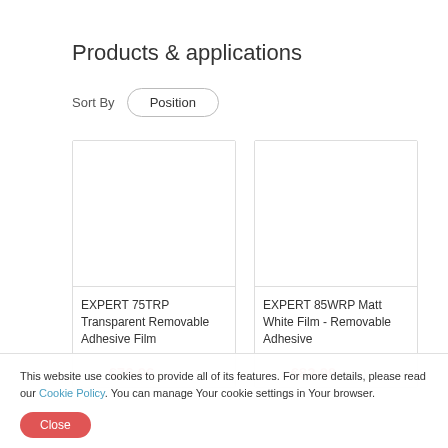Products & applications
Sort By  Position
[Figure (other): Blank white product image placeholder for EXPERT 75TRP Transparent Removable Adhesive Film]
EXPERT 75TRP Transparent Removable Adhesive Film
€76.96  Incl. VAT
[Figure (other): Blank white product image placeholder for EXPERT 85WRP Matt White Film - Removable Adhesive]
EXPERT 85WRP Matt White Film - Removable Adhesive
€82.99  Incl. VAT
This website use cookies to provide all of its features. For more details, please read our Cookie Policy. You can manage Your cookie settings in Your browser.
Close